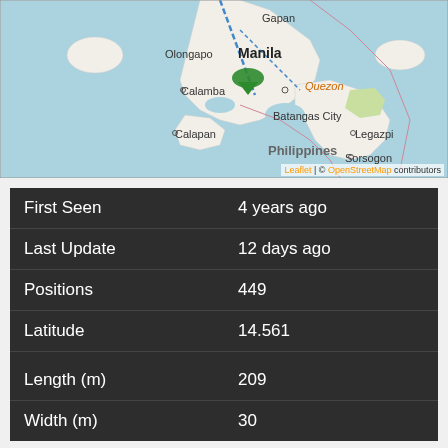[Figure (map): OpenStreetMap showing the Philippines region around Manila, with city labels: Gapan, Olongapo, Manila, Calamba, Quezon, Batangas City, Calapan, Philippines, Legazpi, Sorsogon. A green location marker is visible near Manila/Calamba. Map background is light blue for water and beige/white for land.]
Leaflet | © OpenStreetMap contributors
| First Seen | 4 years ago |
| Last Update | 12 days ago |
| Positions | 449 |
| Latitude | 14.561 |
| Longitude | 120.8175 |
| Length (m) | 209 |
| Width (m) | 30 |